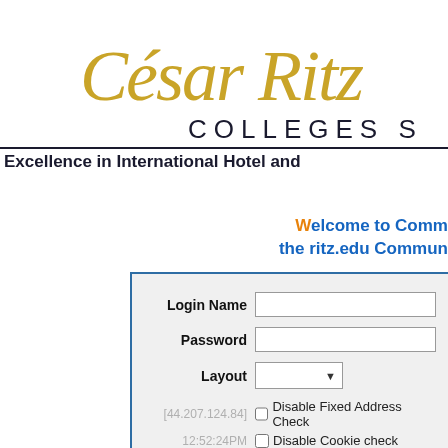[Figure (logo): César Ritz Colleges logo with gold italic script and dark collegiate text]
Excellence in International Hotel and
Welcome to Comm the ritz.edu Commun
Login Name
Password
Layout
[44.207.124.84]
12:52:24PM
Disable Fixed Address Check
Disable Cookie check
Enter